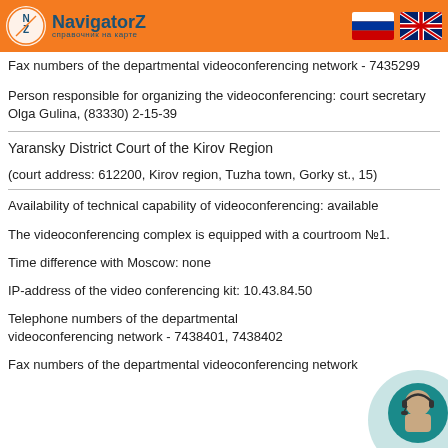NavigatorZ - справочник на карте
Fax numbers of the departmental videoconferencing network - 7435299
Person responsible for organizing the videoconferencing: court secretary Olga Gulina, (83330) 2-15-39
Yaransky District Court of the Kirov Region
(court address: 612200, Kirov region, Tuzha town, Gorky st., 15)
Availability of technical capability of videoconferencing: available
The videoconferencing complex is equipped with a courtroom №1.
Time difference with Moscow: none
IP-address of the video conferencing kit: 10.43.84.50
Telephone numbers of the departmental videoconferencing network - 7438401, 7438402
Fax numbers of the departmental videoconferencing network